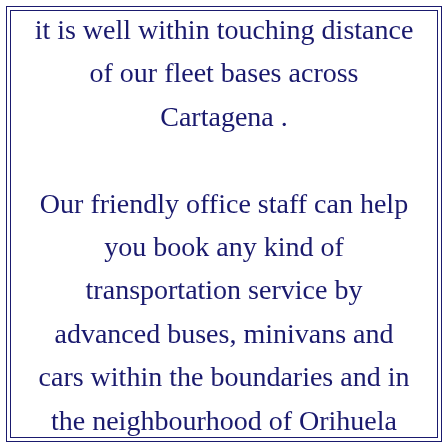it is well within touching distance of our fleet bases across Cartagena . Our friendly office staff can help you book any kind of transportation service by advanced buses, minivans and cars within the boundaries and in the neighbourhood of Orihuela and send you well-maintained vehicles for your rides in all closeby areas. Regardless whether you need merely a quick city sightseeing circuit in